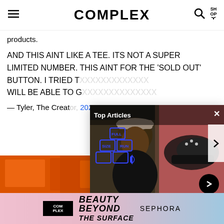COMPLEX
products.
AND THIS AINT LIKE A TEE. ITS NOT A SUPER LIMITED NUMBER. THIS AINT FOR THE 'SOLD OUT' BUTTON. I TRIED T... WILL BE ABLE TO G...
— Tyler, The Creator, 2021
[Figure (screenshot): Popup overlay showing Full Size Run video with Joey Badass, Top Articles label, FSR logo, and article title: Joey Badass Resold Sneakers to Launch His Rap Career | Full Size Run]
[Figure (photo): Bottom strip showing orange/red sneaker boxes background]
[Figure (infographic): Footer advertisement: Complex x Sephora - Beauty Beyond The Surface]